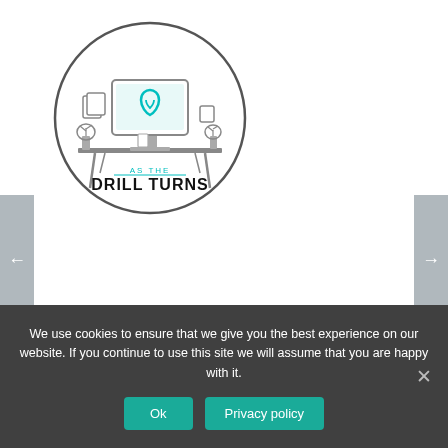[Figure (logo): Circular logo for 'As The Drill Turns' podcast/blog featuring a desk with a computer monitor displaying a tooth icon, a plant, file folders, and text 'AS THE DRILL TURNS' at the bottom in bold black letters.]
← (left navigation arrow tab)
→ (right navigation arrow tab)
[Figure (other): Hamburger menu icon — three horizontal black lines stacked vertically]
We use cookies to ensure that we give you the best experience on our website. If you continue to use this site we will assume that you are happy with it.
Ok
Privacy policy